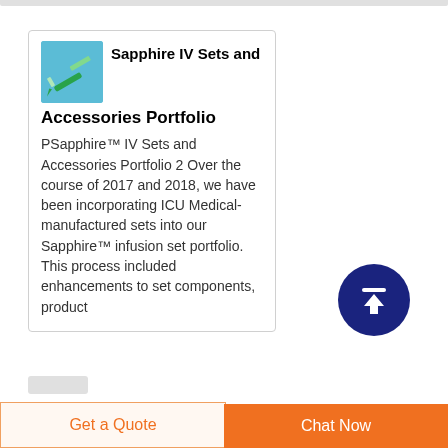Sapphire IV Sets and Accessories Portfolio
PSapphire™ IV Sets and Accessories Portfolio 2 Over the course of 2017 and 2018, we have been incorporating ICU Medical-manufactured sets into our Sapphire™ infusion set portfolio. This process included enhancements to set components, product
[Figure (illustration): Small image of a green IV set / syringe on a blue/teal background]
Get a Quote
Chat Now